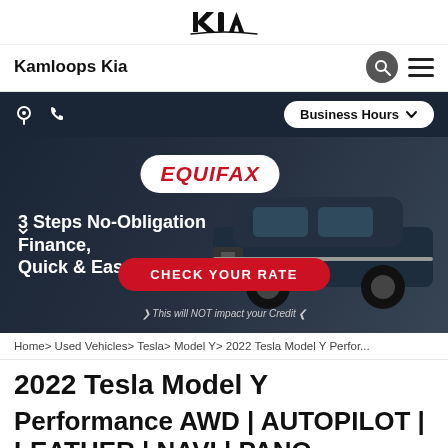Kia logo / Kamloops Kia
[Figure (screenshot): Kia logo (KIA wordmark in stylized italic letters)]
Kamloops Kia
[Figure (infographic): Dark navigation bar with location pin icon, phone icon, and Business Hours button with chevron]
[Figure (photo): Equifax promotional banner with dark background showing Kia SUV, Equifax logo badge, text '3 Steps No-Obligation Finance, Quick & Easy Offers!', red CHECK YOUR RATE button, and italic text 'This will NOT impact your Credit']
Home> Used Vehicles> Tesla> Model Y> 2022 Tesla Model Y Perfor...
2022 Tesla Model Y
Performance AWD | AUTOPILOT | LEATHER | NAVI | PANO